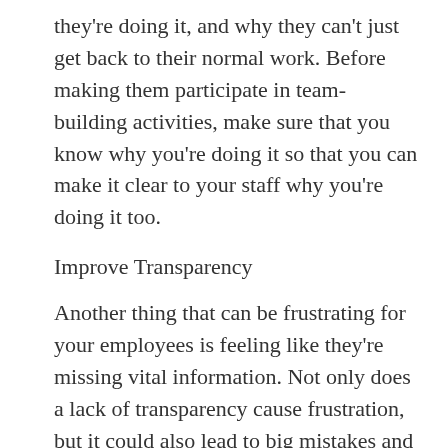they're doing it, and why they can't just get back to their normal work. Before making them participate in team-building activities, make sure that you know why you're doing it so that you can make it clear to your staff why you're doing it too.
Improve Transparency
Another thing that can be frustrating for your employees is feeling like they're missing vital information. Not only does a lack of transparency cause frustration, but it could also lead to big mistakes and a lack of motivation and morale. While there are some things that might need to be as confidential as possible, they are many times when you should open up communication and make sure that your staff have as much information as they need. Keeping them in the loop with both the good